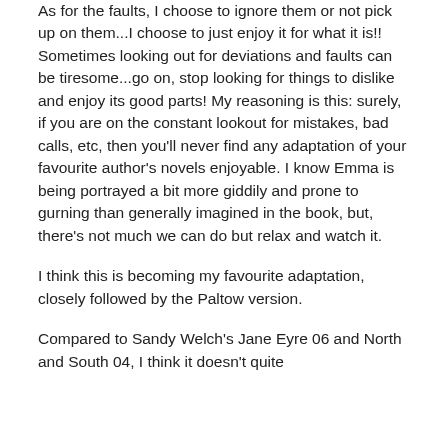As for the faults, I choose to ignore them or not pick up on them...I choose to just enjoy it for what it is!! Sometimes looking out for deviations and faults can be tiresome...go on, stop looking for things to dislike and enjoy its good parts! My reasoning is this: surely, if you are on the constant lookout for mistakes, bad calls, etc, then you'll never find any adaptation of your favourite author's novels enjoyable. I know Emma is being portrayed a bit more giddily and prone to gurning than generally imagined in the book, but, there's not much we can do but relax and watch it.
I think this is becoming my favourite adaptation, closely followed by the Paltow version.
Compared to Sandy Welch's Jane Eyre 06 and North and South 04, I think it doesn't quite